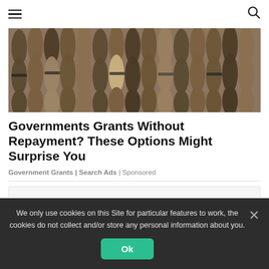☰ [search icon]
[Figure (photo): Rows of rolled-up paper currency bills stored in a drawer or tray, closely packed together, viewed from above at a slight angle.]
Governments Grants Without Repayment? These Options Might Surprise You
Government Grants | Search Ads | Sponsored
[Figure (other): Advertisement placeholder block with light gray background.]
We only use cookies on this Site for particular features to work, the cookies do not collect and/or store any personal information about you.